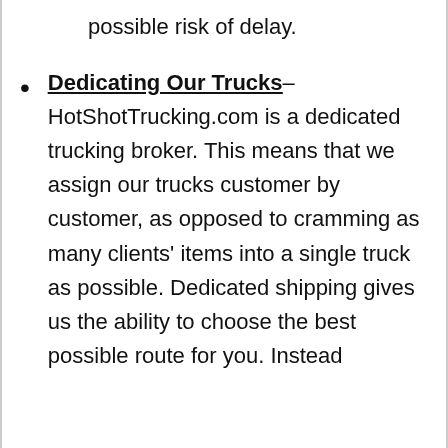and come with the smallest possible risk of delay.
Dedicating Our Trucks– HotShotTrucking.com is a dedicated trucking broker. This means that we assign our trucks customer by customer, as opposed to cramming as many clients' items into a single truck as possible. Dedicated shipping gives us the ability to choose the best possible route for you. Instead